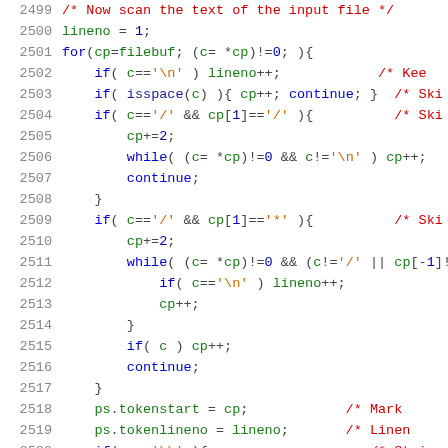Code listing lines 2499–2520, C source code with syntax highlighting showing file scanning logic including lineno tracking, whitespace skipping, comment skipping, and token marking.